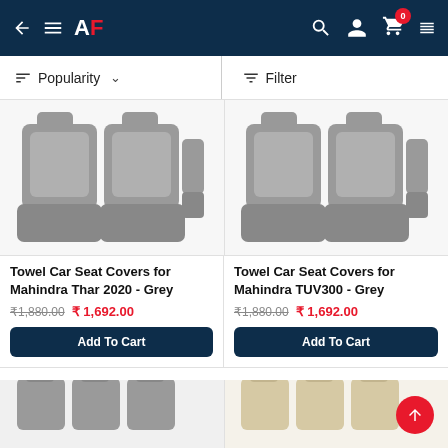AF - Popularity sort, Filter
Popularity ∨  Filter
[Figure (photo): Grey towel car seat covers arranged on front seats - Mahindra Thar 2020]
Towel Car Seat Covers for Mahindra Thar 2020 - Grey
₹1,880.00  ₹ 1,692.00
Add To Cart
[Figure (photo): Grey towel car seat covers arranged on front seats - Mahindra TUV300]
Towel Car Seat Covers for Mahindra TUV300 - Grey
₹1,880.00  ₹ 1,692.00
Add To Cart
[Figure (photo): Grey car seat covers full set - partially visible]
[Figure (photo): Beige/cream car seat covers full set - partially visible]